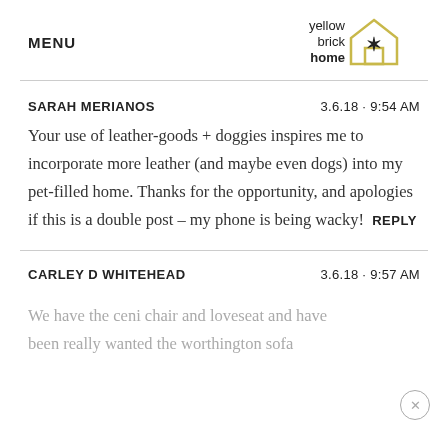MENU | yellow brick home logo
SARAH MERIANOS   3.6.18 · 9:54 AM
Your use of leather-goods + doggies inspires me to incorporate more leather (and maybe even dogs) into my pet-filled home. Thanks for the opportunity, and apologies if this is a double post – my phone is being wacky!   REPLY
CARLEY D WHITEHEAD   3.6.18 · 9:57 AM
We have the ceni chair and loveseat and have been really wanted the worthington sofa